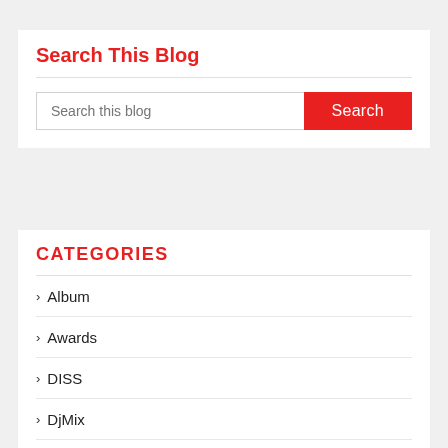Search This Blog
[Figure (screenshot): Search input box with placeholder 'Search this blog' and a red 'Search' button]
CATEGORIES
Album
Awards
DISS
DjMix
E-News